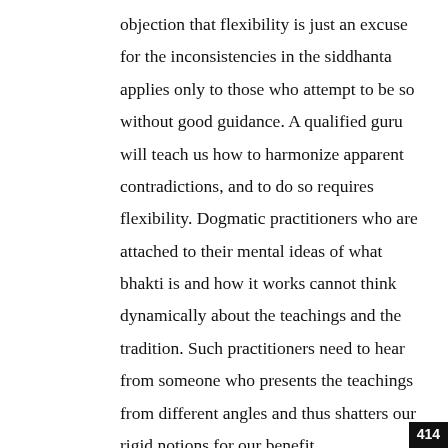objection that flexibility is just an excuse for the inconsistencies in the siddhanta applies only to those who attempt to be so without good guidance. A qualified guru will teach us how to harmonize apparent contradictions, and to do so requires flexibility. Dogmatic practitioners who are attached to their mental ideas of what bhakti is and how it works cannot think dynamically about the teachings and the tradition. Such practitioners need to hear from someone who presents the teachings from different angles and thus shatters our rigid notions for our benefit.
414